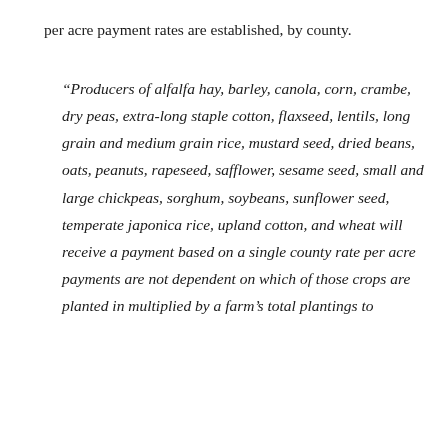per acre payment rates are established, by county.
“Producers of alfalfa hay, barley, canola, corn, crambe, dry peas, extra-long staple cotton, flaxseed, lentils, long grain and medium grain rice, mustard seed, dried beans, oats, peanuts, rapeseed, safflower, sesame seed, small and large chickpeas, sorghum, soybeans, sunflower seed, temperate japonica rice, upland cotton, and wheat will receive a payment based on a single county rate per acre payments are not dependent on which of those crops are planted in multiplied by a farm’s total plantings to